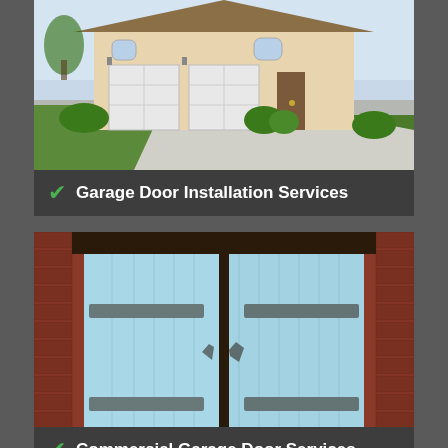[Figure (photo): Suburban house with white garage doors and a wide driveway, green lawn, beige stucco exterior]
Garage Door Installation Services
[Figure (photo): Light blue double garage door set in a brick wall frame with dark metal hardware and hinges]
Commercial Garage Door Services